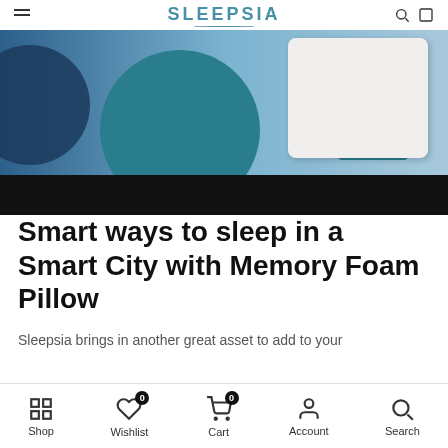SLEEPSIA
[Figure (photo): Product hero image of a Sleepsia memory foam pillow on a teal/blue background with a dark navy circle element on the left and a black banner across the bottom]
Smart ways to sleep in a Smart City with Memory Foam Pillow
Sleepsia brings in another great asset to add to your
Shop   Wishlist  0   Cart  0   Account   Search